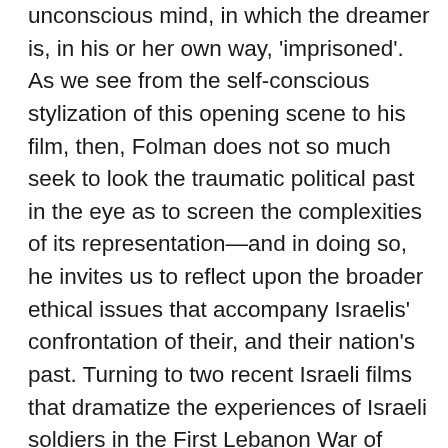unconscious mind, in which the dreamer is, in his or her own way, 'imprisoned'. As we see from the self-conscious stylization of this opening scene to his film, then, Folman does not so much seek to look the traumatic political past in the eye as to screen the complexities of its representation—and in doing so, he invites us to reflect upon the broader ethical issues that accompany Israelis' confrontation of their, and their nation's past. Turning to two recent Israeli films that dramatize the experiences of Israeli soldiers in the First Lebanon War of 1982, Folman's Waltz with Bashir and Samuel Maoz's 2009 feature, Lebanon, it becomes possible to explore the ways in which the cinematic mediation of these soldiers' experiences through a discourse of trauma leads to an ambivalent 'screening' of the past in which the drive towards